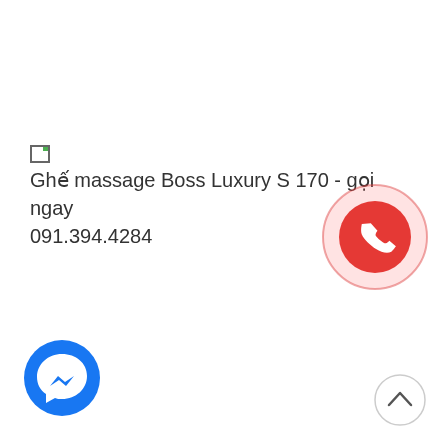[Ghế massage Boss Luxury S 170 - gọi ngay 091.394.4284
[Figure (other): Red phone/call button icon with pink pulsing ring background, positioned at right side]
[Figure (other): Facebook Messenger blue circle icon with white lightning bolt messenger logo]
[Figure (other): Light gray circle with upward chevron arrow, scroll-to-top button]